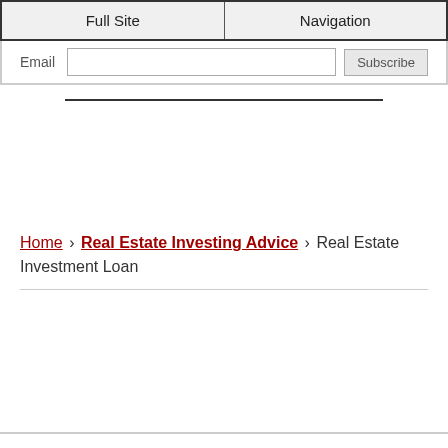Full Site | Navigation
Email  [input]  Subscribe
Home › Real Estate Investing Advice › Real Estate Investment Loan